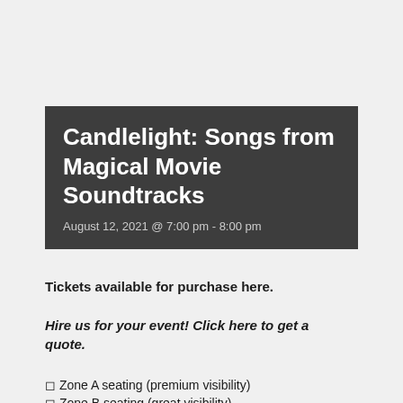Candlelight: Songs from Magical Movie Soundtracks
August 12, 2021 @ 7:00 pm - 8:00 pm
Tickets available for purchase here.
Hire us for your event! Click here to get a quote.
◻ Zone A seating (premium visibility)
◻ Zone B seating (great visibility)